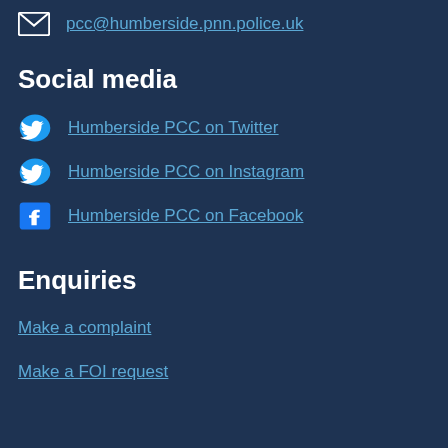pcc@humberside.pnn.police.uk
Social media
Humberside PCC on Twitter
Humberside PCC on Instagram
Humberside PCC on Facebook
Enquiries
Make a complaint
Make a FOI request